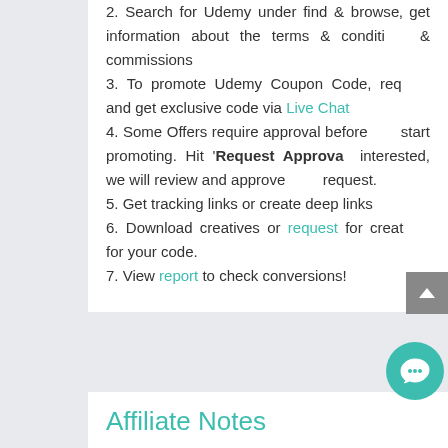2. Search for Udemy under find & browse, get information about the terms & conditions & commissions
3. To promote Udemy Coupon Code, request and get exclusive code via Live Chat
4. Some Offers require approval before you start promoting. Hit 'Request Approval' if interested, we will review and approve your request.
5. Get tracking links or create deep links
6. Download creatives or request for creatives for your code.
7. View report to check conversions!
Affiliate Notes